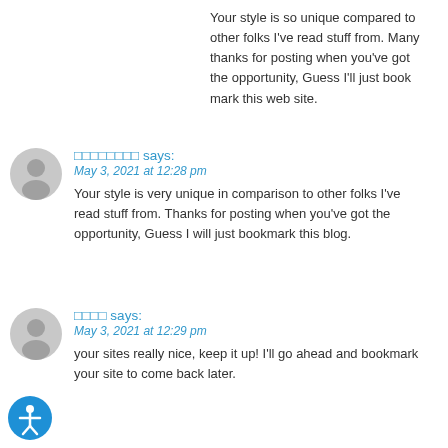Your style is so unique compared to other folks I've read stuff from. Many thanks for posting when you've got the opportunity, Guess I'll just book mark this web site.
□□□□□□□□ says:
May 3, 2021 at 12:28 pm
Your style is very unique in comparison to other folks I've read stuff from. Thanks for posting when you've got the opportunity, Guess I will just bookmark this blog.
□□□□ says:
May 3, 2021 at 12:29 pm
your sites really nice, keep it up! I'll go ahead and bookmark your site to come back later.
[Figure (illustration): Blue accessibility icon button in bottom left corner]